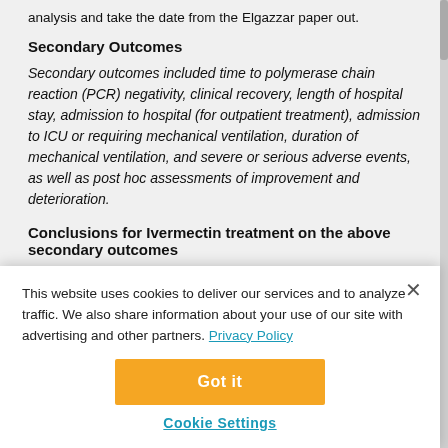analysis and take the date from the Elgazzar paper out.
Secondary Outcomes
Secondary outcomes included time to polymerase chain reaction (PCR) negativity, clinical recovery, length of hospital stay, admission to hospital (for outpatient treatment), admission to ICU or requiring mechanical ventilation, duration of mechanical ventilation, and severe or serious adverse events, as well as post hoc assessments of improvement and deterioration.
Conclusions for Ivermectin treatment on the above secondary outcomes
This website uses cookies to deliver our services and to analyze traffic. We also share information about your use of our site with advertising and other partners. Privacy Policy
Got it
Cookie Settings